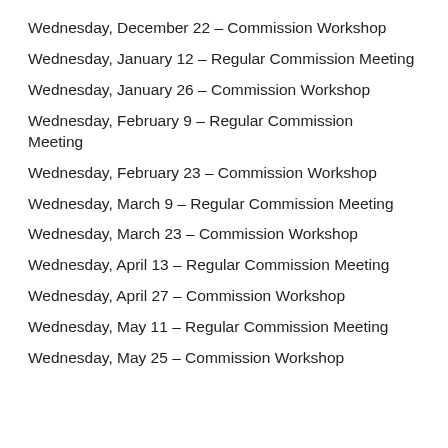Wednesday, December 22 – Commission Workshop
Wednesday, January 12 – Regular Commission Meeting
Wednesday, January 26 – Commission Workshop
Wednesday, February 9 – Regular Commission Meeting
Wednesday, February 23 – Commission Workshop
Wednesday, March 9 – Regular Commission Meeting
Wednesday, March 23 – Commission Workshop
Wednesday, April 13 – Regular Commission Meeting
Wednesday, April 27 – Commission Workshop
Wednesday, May 11 – Regular Commission Meeting
Wednesday, May 25 – Commission Workshop